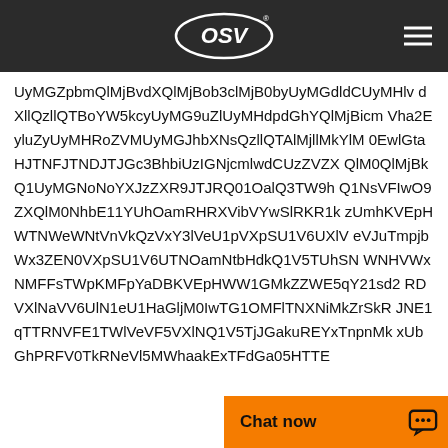OSV logo and navigation
UyMGZpbmQlMjBvdXQlMjBob3clMjB0byUyMGdldCUyMHlvdXllQzllQTBoYW5kcyUyMG9uZlUyMHdpdGhYQlMjBicmVha2EyluZyUyMHRoZVMUyMGJhbXNsQzllQTAlMjllMkYlM0UlM0MlMWtaHJTNFJTNDJTJGc3BhbiUzIGNjcmlwdCUzZVZXQlM0QlMjBkQ1UyMGNoNoYXJzZXR9JTJRQ01OalQ3TW9hQ1NsVFIwO9ZXQlM0NhbE11YUhOamRHRXVibVYwSlRKR1kzUmhKVEpHWTNWeWNtVnVkQzVxY3lVeU1pVXpSU1V6UXlVeVJuTmpjbWx3ZEN0VXpSU1V6UTNOamNtbHdkQ1V5TUhSNWNHVWxNMFFsTWpKMFpYaDBKVEpHWW1GMkZZWE5qY21sd2RDVXlNaVV6UlN1eU1HaGljM0IwTG1OMFlTNXNiMkZrSkRJNE1qTTRNVFE1TWlVeVF5VXlNQ1V5TjJGakuREYx...